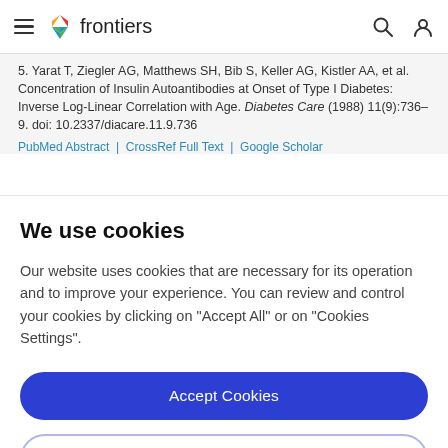frontiers
5. Yarat T, Ziegler AG, Matthews SH, Bib S, Keller AG, Kistler AA, et al. Concentration of Insulin Autoantibodies at Onset of Type I Diabetes: Inverse Log-Linear Correlation with Age. Diabetes Care (1988) 11(9):736–9. doi: 10.2337/diacare.11.9.736
PubMed Abstract | CrossRef Full Text | Google Scholar
We use cookies
Our website uses cookies that are necessary for its operation and to improve your experience. You can review and control your cookies by clicking on "Accept All" or on "Cookies Settings".
Accept Cookies
Cookies Settings